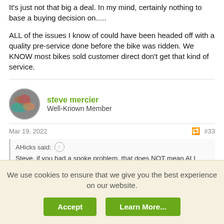It's just not that big a deal. In my mind, certainly nothing to base a buying decision on.....
ALL of the issues I know of could have been headed off with a quality pre-service done before the bike was ridden. We KNOW most bikes sold customer direct don't get that kind of service.
steve mercier
Well-Known Member
Mar 19, 2022  #33
AHicks said:
Steve, if you had a spoke problem, that does NOT mean ALL purchasers of hub driven bikes will have a problem. IF you have a
We use cookies to ensure that we give you the best experience on our website.
Accept  Learn More...